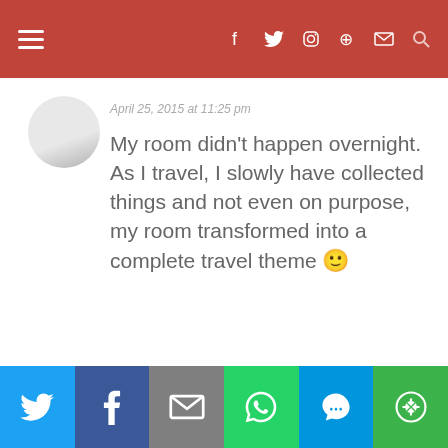Navigation bar with hamburger menu and social icons
April 25, 2015 at 11:25 pm
My room didn't happen overnight. As I travel, I slowly have collected things and not even on purpose, my room transformed into a complete travel theme 🙂
MEGAN KENNEDY
April 25, 2015 at 10:23 pm
I love your room. Inspiring!
I need to incorporate travel into my
Share bar: Twitter, Facebook, Email, WhatsApp, SMS, More